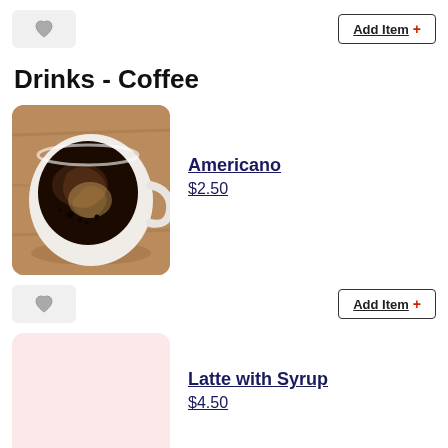[Figure (other): Heart favorite button (grey heart icon on light grey background)]
Add Item +
Drinks - Coffee
[Figure (photo): Top-down photo of a white coffee mug with black americano coffee, placed on a wooden surface]
Americano
$2.50
[Figure (other): Heart favorite button (grey heart icon on light grey background)]
Add Item +
[Figure (other): Pink/rose placeholder image rectangle for Latte with Syrup]
Latte with Syrup
$4.50